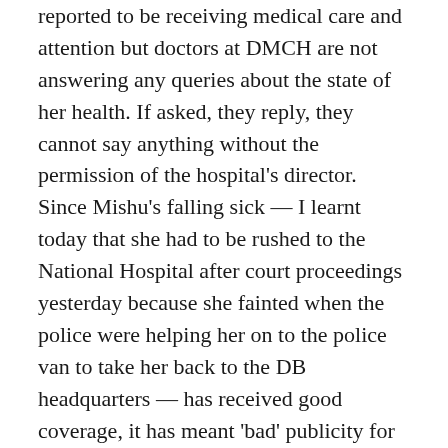reported to be receiving medical care and attention but doctors at DMCH are not answering any queries about the state of her health. If asked, they reply, they cannot say anything without the permission of the hospital's director. Since Mishu's falling sick — I learnt today that she had to be rushed to the National Hospital after court proceedings yesterday because she fainted when the police were helping her on to the police van to take her back to the DB headquarters — has received good coverage, it has meant 'bad' publicity for the government and has reportedly aroused the wrath of an Awami League-supporting doctor, who's also very influential in the doctors' association. He has threatened Mishu's family members that she